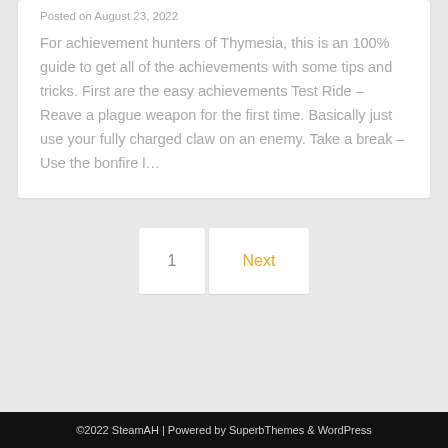Posted on August 23, 2022
For achievement hunters of Thymesia, this is an 100% guide to get all of the achievements with some tips and tricks. First are the easy achievements Test Ride – Reave a plague weapon for the first time. Basically just use your fully charged claw on an enemy. Take a break – Use the bonfire l…
1
Next
©2022 SteamAH | Powered by SuperbThemes & WordPress